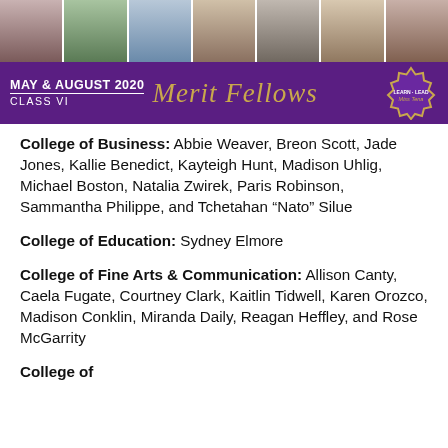[Figure (photo): Strip of graduation/award photos of Merit Fellows]
[Figure (illustration): Purple banner reading 'May & August 2020 Class VI Merit Fellows' with decorative badge]
College of Business: Abbie Weaver, Breon Scott, Jade Jones, Kallie Benedict, Kayteigh Hunt, Madison Uhlig, Michael Boston, Natalia Zwirek, Paris Robinson, Sammantha Philippe, and Tchetahan “Nato” Silue
College of Education: Sydney Elmore
College of Fine Arts & Communication: Allison Canty, Caela Fugate, Courtney Clark, Kaitlin Tidwell, Karen Orozco, Madison Conklin, Miranda Daily, Reagan Heffley, and Rose McGarrity
College of... (partial, cut off at bottom)